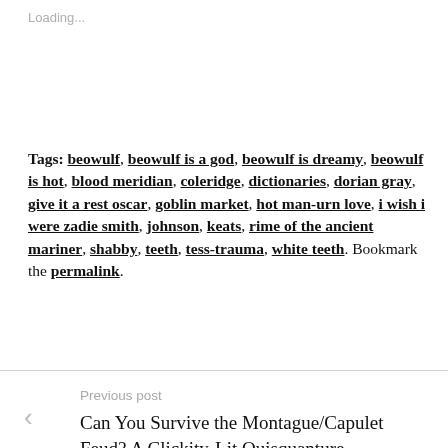Loading...
Tags: beowulf, beowulf is a god, beowulf is dreamy, beowulf is hot, blood meridian, coleridge, dictionaries, dorian gray, give it a rest oscar, goblin market, hot man-urn love, i wish i were zadie smith, johnson, keats, rime of the ancient mariner, shabby, teeth, tess-trauma, white teeth. Bookmark the permalink.
Previous post
Can You Survive the Montague/Capulet Feud? A Clickity-Lit Quisquanture